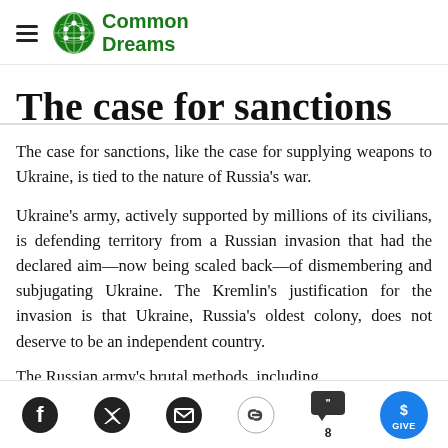Common Dreams
The case for sanctions
The case for sanctions, like the case for supplying weapons to Ukraine, is tied to the nature of Russia's war.
Ukraine's army, actively supported by millions of its civilians, is defending territory from a Russian invasion that had the declared aim—now being scaled back—of dismembering and subjugating Ukraine. The Kremlin's justification for the invasion is that Ukraine, Russia's oldest colony, does not deserve to be an independent country.
The Russian army's brutal methods, including
Share icons: Facebook, Twitter, Email, Link, Comments (8), Give